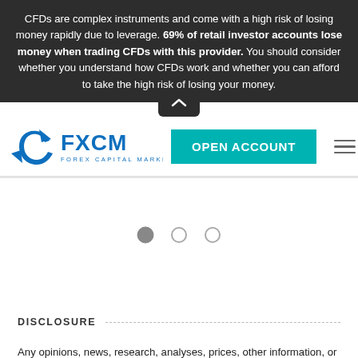CFDs are complex instruments and come with a high risk of losing money rapidly due to leverage. 69% of retail investor accounts lose money when trading CFDs with this provider. You should consider whether you understand how CFDs work and whether you can afford to take the high risk of losing your money.
[Figure (logo): FXCM Forex Capital Markets logo in blue]
OPEN ACCOUNT
[Figure (illustration): Slider navigation dots: one filled grey circle and two empty circles]
DISCLOSURE
Any opinions, news, research, analyses, prices, other information, or links to third-party sites contained on this website are provided on an "as-is" basis, as general